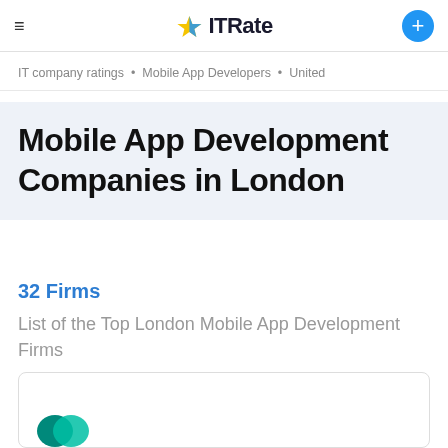≡  ITRate  +
IT company ratings • Mobile App Developers • United
Mobile App Development Companies in London
32 Firms
List of the Top London Mobile App Development Firms